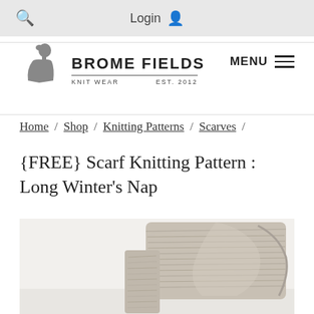Login
[Figure (logo): Brome Fields Knit Wear Est. 2012 logo with woman silhouette]
MENU
Home / Shop / Knitting Patterns / Scarves / {FREE} Scarf Knitting Pattern : Long Winter's Nap
{FREE} Scarf Knitting Pattern : Long Winter's Nap
[Figure (photo): Close-up photo of a grey knitted scarf draped on a white surface]